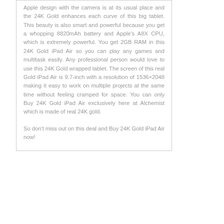Apple design with the camera is at its usual place and the 24K Gold enhances each curve of this big tablet. This beauty is also smart and powerful because you get a whopping 8820mAh battery and Apple's A8X CPU, which is extremely powerful. You get 2GB RAM in this 24K Gold iPad Air so you can play any games and multitask easily. Any professional person would love to use this 24K Gold wrapped tablet. The screen of this real Gold iPad Air is 9.7-inch with a resolution of 1536×2048 making it easy to work on multiple projects at the same time without feeling cramped for space. You can only Buy 24K Gold iPad Air exclusively here at Alchemist which is made of real 24K gold.
So don't miss out on this deal and Buy 24K Gold iPad Air now!